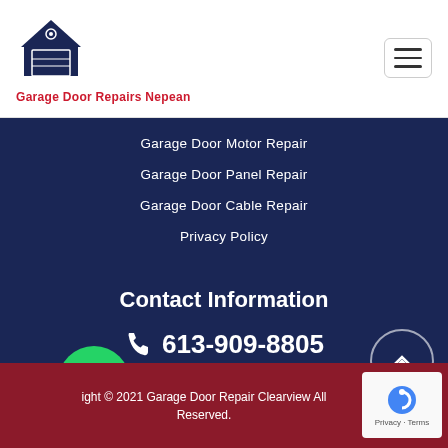Garage Door Repairs Nepean
Garage Door Motor Repair
Garage Door Panel Repair
Garage Door Cable Repair
Privacy Policy
Contact Information
613-909-8805
E-Mail Us
Copyright © 2021 Garage Door Repair Clearview All Rights Reserved.